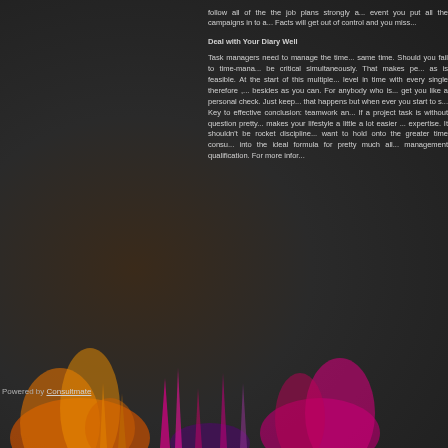follow all of the the job plans strongly a... event you put all the campaigns in to a... Facts will get out of control and you miss...
Deal with Your Diary Well
Task managers need to manage the time... same time. Should you fail to time-mana... be critical simultaneously. That makes pe... as is feasible. At the start of this multiple... level in time with every single therefore ,... besides as you can. For anybody who is... get you like a personal check. Just keep... that happens but when ever you start to s... Key to effective conclusion: teamwork an... If a project task is without question pretty... makes your lifestyle a little a lot easier ... expertise. It shouldn't be rocket discipline... want to hold onto the greater time consu... into the ideal formula for pretty much all... management qualification. For more infor...
Powered by Consultmate